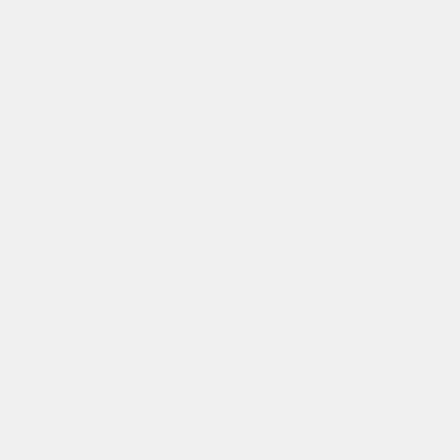[Figure (photo): Profile photo of couple with sunglasses outdoors]
WaltVB replied to thread Lisa... 8/9/22-8/19/2...
What a great d... mine. There sh... card... are you... No...
see more
190 replies | 8395 view(s)
[Figure (photo): Profile photo of couple with hats outdoors]
WaltVB replied to thread Britis... to AUA in M... Airlines & A...
And even more... ATOL Protectio...
see more
2 replies | 265 view(s)
[Figure (photo): Profile photo of couple with hats outdoors]
WaltVB replied to thread Escap... Off Topic
Excellent!
see more
57 replies | 1937 view(s)
[Figure (photo): Profile photo of couple with hats outdoors]
WaltVB repli... thread Escap... Off Topic